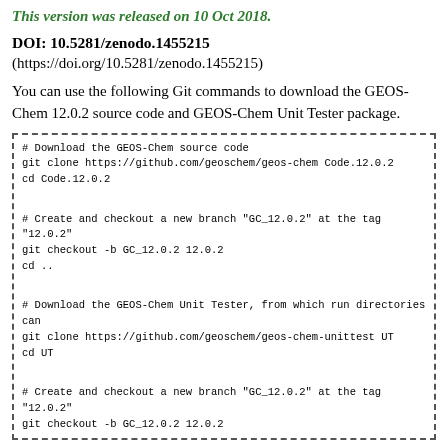This version was released on 10 Oct 2018.
DOI: 10.5281/zenodo.1455215
(https://doi.org/10.5281/zenodo.1455215)
You can use the following Git commands to download the GEOS-Chem 12.0.2 source code and GEOS-Chem Unit Tester package.
# Download the GEOS-Chem source code
git clone https://github.com/geoschem/geos-chem Code.12.0.2
cd Code.12.0.2

# Create and checkout a new branch "GC_12.0.2" at the tag "12.0.2"
git checkout -b GC_12.0.2 12.0.2
cd ..

# Download the GEOS-Chem Unit Tester, from which run directories can
git clone https://github.com/geoschem/geos-chem-unittest UT
cd UT

# Create and checkout a new branch "GC_12.0.2" at the tag "12.0.2"
git checkout -b GC_12.0.2 12.0.2
Important: Make sure you also download the new data directories for 12.0.0 if you haven't already.
This version includes the updates listed below.